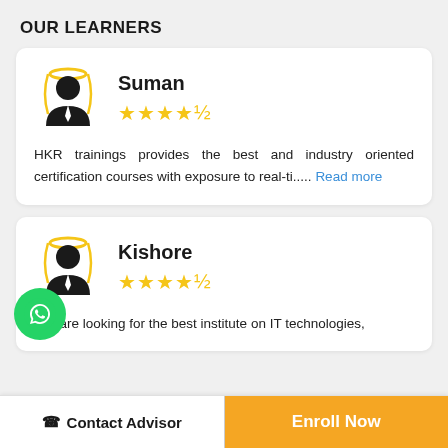OUR LEARNERS
Suman
★★★★½
HKR trainings provides the best and industry oriented certification courses with exposure to real-ti..... Read more
Kishore
★★★★½
you are looking for the best institute on IT technologies,
Contact Advisor
Enroll Now